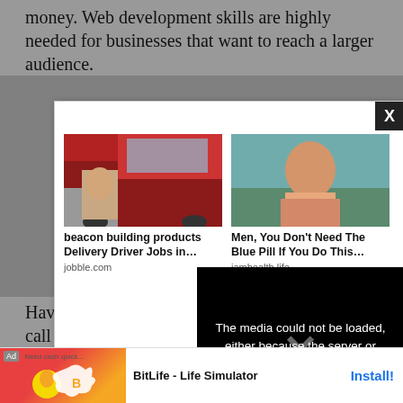money. Web development skills are highly needed for businesses that want to reach a larger audience.
[Figure (screenshot): Advertisement modal with two sponsored content thumbnails: a truck/delivery driver image with caption 'beacon building products Delivery Driver Jobs in… jobble.com' and a woman image with caption 'Men, You Don't Need The Blue Pill If You Do This… iamhealth.life'. A video error overlay reads 'The media could not be loaded, either because the server or network failed or because the format is not supported.' Close button X in top-right corner.]
Have... to call a... to do
[Figure (screenshot): App advertisement banner for 'BitLife - Life Simulator' with Install button in blue.]